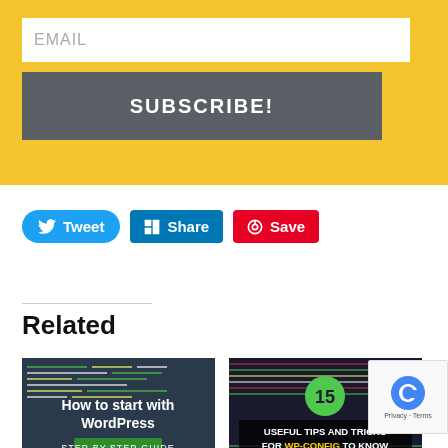[Figure (screenshot): Yellow banner with EMAIL input field and SUBSCRIBE! button]
[Figure (screenshot): Social sharing buttons: Tweet (blue), Share (LinkedIn blue), Save (Pinterest red)]
Related
[Figure (screenshot): Thumbnail image: How to start with WordPress - Step-by-step guide, dark background with code]
WordPress installation and few tips for better start
May 31, 2019
[Figure (screenshot): Thumbnail image: 15 useful tips and tricks for wp-config to know, dark background with green circle]
15 useful tips and tricks for wp-config
August 23, 2019